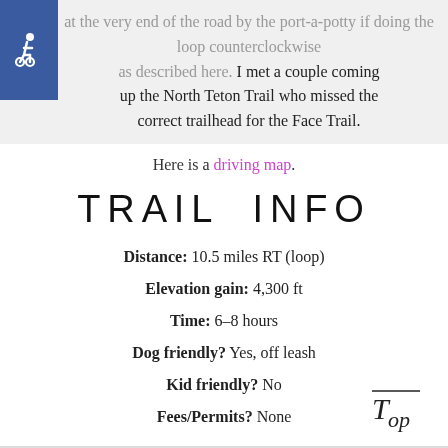at the very end of the road by the port-a-potty if doing the loop counterclockwise as described here. I met a couple coming up the North Teton Trail who missed the correct trailhead for the Face Trail.
Here is a driving map.
TRAIL INFO
Distance: 10.5 miles RT (loop)
Elevation gain: 4,300 ft
Time: 6–8 hours
Dog friendly? Yes, off leash
Kid friendly? No
Fees/Permits? None